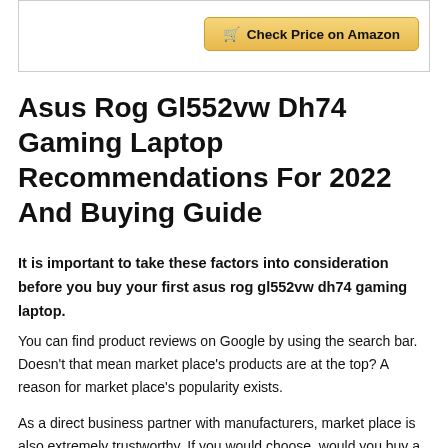[Figure (other): Check Price on Amazon button with shopping cart icon, gold/yellow gradient background]
Asus Rog Gl552vw Dh74 Gaming Laptop Recommendations For 2022 And Buying Guide
It is important to take these factors into consideration before you buy your first asus rog gl552vw dh74 gaming laptop.
You can find product reviews on Google by using the search bar. Doesn't that mean market place's products are at the top? A reason for market place's popularity exists.
As a direct business partner with manufacturers, market place is also extremely trustworthy. If you would choose, would you buy a